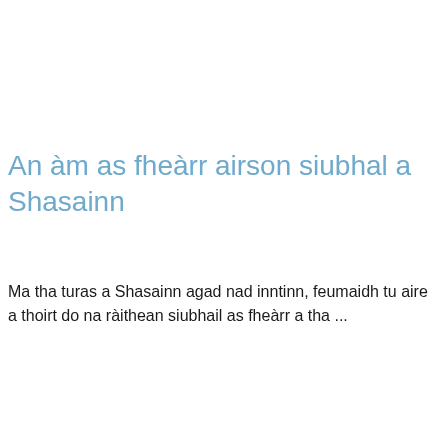An àm as fheàrr airson siubhal a Shasainn
Ma tha turas a Shasainn agad nad inntinn, feumaidh tu aire a thoirt do na ràithean siubhail as fheàrr a tha ...